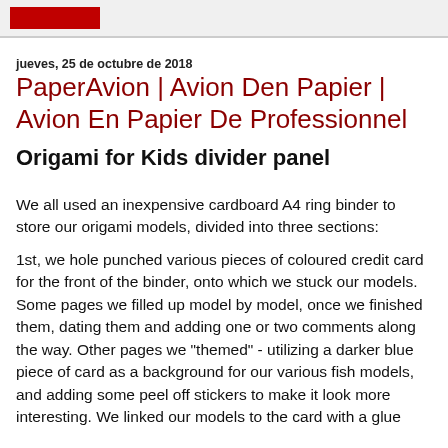jueves, 25 de octubre de 2018
PaperAvion | Avion Den Papier | Avion En Papier De Professionnel
Origami for Kids divider panel
We all used an inexpensive cardboard A4 ring binder to store our origami models, divided into three sections:
1st, we hole punched various pieces of coloured credit card for the front of the binder, onto which we stuck our models. Some pages we filled up model by model, once we finished them, dating them and adding one or two comments along the way. Other pages we "themed" - utilizing a darker blue piece of card as a background for our various fish models, and adding some peel off stickers to make it look more interesting. We linked our models to the card with a glue